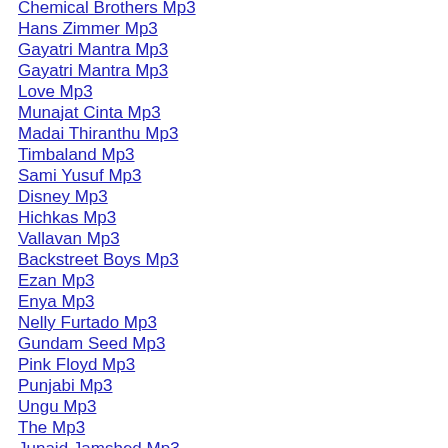Chemical Brothers Mp3
Hans Zimmer Mp3
Gayatri Mantra Mp3
Gayatri Mantra Mp3
Love Mp3
Munajat Cinta Mp3
Madai Thiranthu Mp3
Timbaland Mp3
Sami Yusuf Mp3
Disney Mp3
Hichkas Mp3
Vallavan Mp3
Backstreet Boys Mp3
Ezan Mp3
Enya Mp3
Nelly Furtado Mp3
Gundam Seed Mp3
Pink Floyd Mp3
Punjabi Mp3
Ungu Mp3
The Mp3
Junaid Jamshed Mp3
Carmina Burana Mp3
Code Crush Mp3
Sukhkarta Dukhharta Mp3
Nickelback Mp3